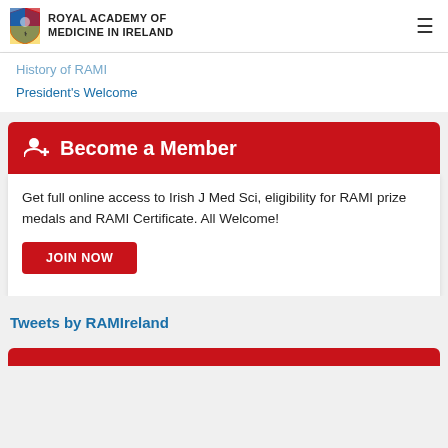ROYAL ACADEMY OF MEDICINE IN IRELAND
History of RAMI
President's Welcome
Become a Member
Get full online access to Irish J Med Sci, eligibility for RAMI prize medals and RAMI Certificate. All Welcome!
JOIN NOW
Tweets by RAMIreland